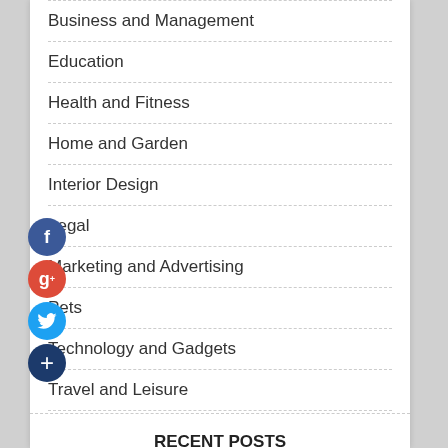Business and Management
Education
Health and Fitness
Home and Garden
Interior Design
Legal
Marketing and Advertising
Pets
Technology and Gadgets
Travel and Leisure
RECENT POSTS